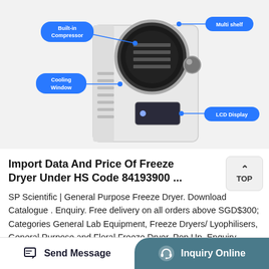[Figure (photo): A white freeze dryer machine with labeled callouts: Built-in Compressor (top left), Multi shelf (top right), Cooling Window (middle left), LCD Display (middle right). The machine has a circular drum door, ventilation slats, and an LCD panel.]
Import Data And Price Of Freeze Dryer Under HS Code 84193900 ...
SP Scientific | General Purpose Freeze Dryer. Download Catalogue . Enquiry. Free delivery on all orders above SGD$300; Categories General Lab Equipment, Freeze Dryers/ Lyophilisers, General Purpose and Floral Freeze Dryer. Pop Up. Enquiry Form. Name. Country
Send Message | Inquiry Online